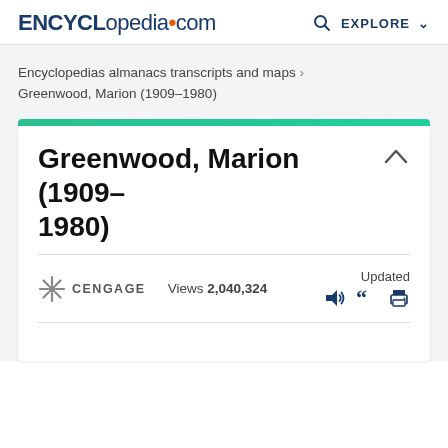ENCYCLopedia.com  EXPLORE
Encyclopedias almanacs transcripts and maps > Greenwood, Marion (1909–1980)
Greenwood, Marion (1909–1980)
CENGAGE  Views 2,040,324  Updated